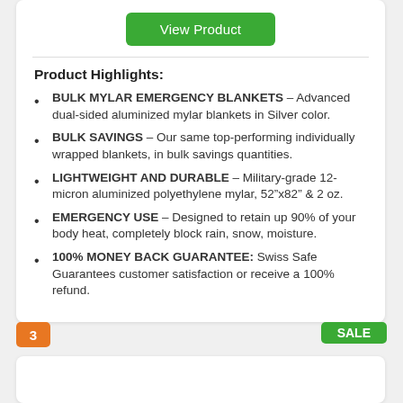View Product
Product Highlights:
BULK MYLAR EMERGENCY BLANKETS – Advanced dual-sided aluminized mylar blankets in Silver color.
BULK SAVINGS – Our same top-performing individually wrapped blankets, in bulk savings quantities.
LIGHTWEIGHT AND DURABLE – Military-grade 12-micron aluminized polyethylene mylar, 52"x82" & 2 oz.
EMERGENCY USE – Designed to retain up 90% of your body heat, completely block rain, snow, moisture.
100% MONEY BACK GUARANTEE: Swiss Safe Guarantees customer satisfaction or receive a 100% refund.
3
SALE